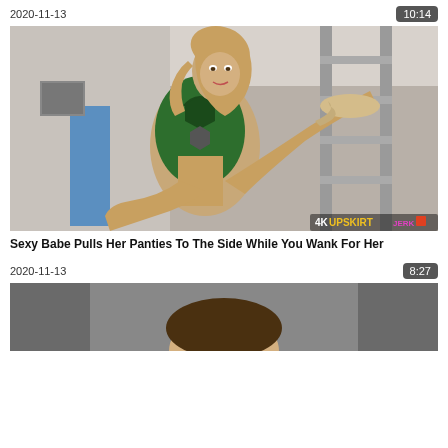2020-11-13
10:14
[Figure (photo): Video thumbnail showing a woman in a green patterned dress sitting on a ladder, wearing high heels, with a watermark reading 4KUPSKIRT in the bottom right corner.]
Sexy Babe Pulls Her Panties To The Side While You Wank For Her
2020-11-13
8:27
[Figure (photo): Partial video thumbnail showing the top of a person's head, partially cut off at the bottom of the page.]